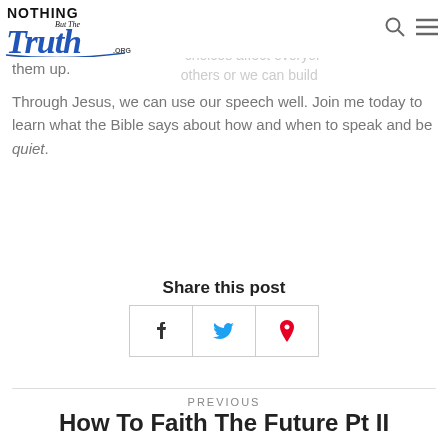[Figure (logo): Nothing But The Truth .org logo in blue and black]
his image, our words are part of the image we cannot create another person our choices affect everyone we can tear down others or we can build them up.
Through Jesus, we can use our speech well. Join me today to learn what the Bible says about how and when to speak and be quiet.
Share this post
f   (twitter bird)   (pinterest P)
PREVIOUS
How To Faith The Future Pt II